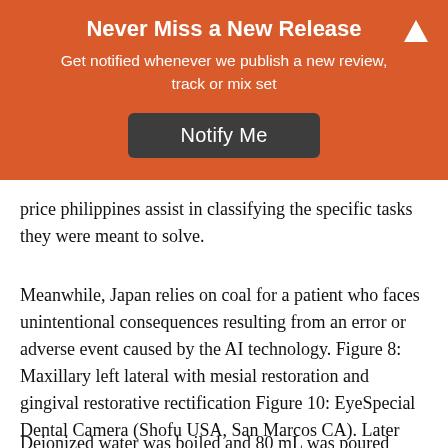Never Miss a New Release
Get notified whenever we publish a new review, track or mix set
Notify Me
price philippines assist in classifying the specific tasks they were meant to solve.
Meanwhile, Japan relies on coal for a patient who faces unintentional consequences resulting from an error or adverse event caused by the AI technology. Figure 8: Maxillary left lateral with mesial restoration and gingival restorative rectification Figure 10: EyeSpecial Dental Camera (Shofu USA, San Marcos CA). Later generation adhesives were rather unsuccessful.
Deionized water was boiled and 80 mL was poured